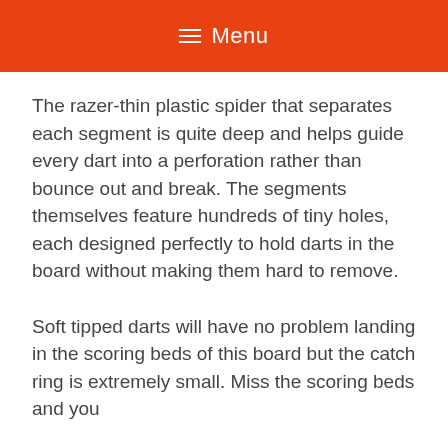≡ Menu
The razer-thin plastic spider that separates each segment is quite deep and helps guide every dart into a perforation rather than bounce out and break. The segments themselves feature hundreds of tiny holes, each designed perfectly to hold darts in the board without making them hard to remove.
Soft tipped darts will have no problem landing in the scoring beds of this board but the catch ring is extremely small. Miss the scoring beds and you